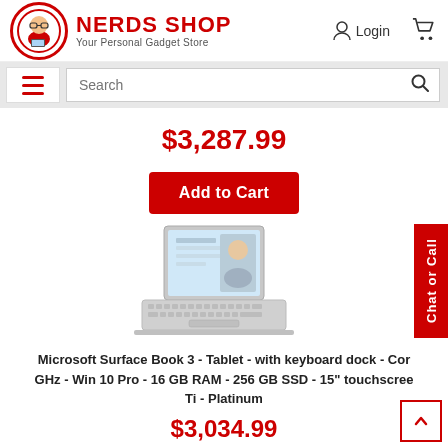NERDS SHOP - Your Personal Gadget Store
Search
$3,287.99
Add to Cart
[Figure (photo): Microsoft Surface Book 3 laptop/tablet product photo, silver, shown open at an angle with a screen displaying content. Chat or Call red vertical banner on right.]
Microsoft Surface Book 3 - Tablet - with keyboard dock - Core i7 - GHz - Win 10 Pro - 16 GB RAM - 256 GB SSD - 15" touchscreen - Ti - Platinum
$3,034.99